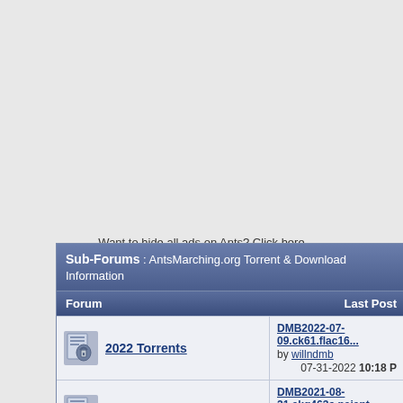Want to hide all ads on Ants? Click here
Sub-Forums : AntsMarching.org Torrent & Download Information
| Forum | Last Post |
| --- | --- |
| 2022 Torrents | DMB2022-07-09.ck61.flac16...
by willndmb
07-31-2022 10:18 P |
| 2021 Torrents | DMB2021-08-21.akg463s.naiant.
by Flex1
12-14-2021 03:23 P |
| [partial row] | DM_2020-03-26.web.flac16... |